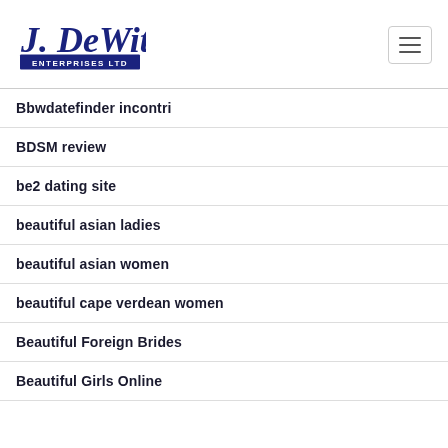J. DeWitt Enterprises Ltd
Bbwdatefinder incontri
BDSM review
be2 dating site
beautiful asian ladies
beautiful asian women
beautiful cape verdean women
Beautiful Foreign Brides
Beautiful Girls Online